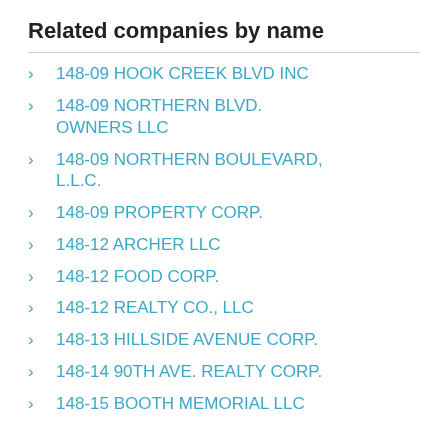Related companies by name
148-09 HOOK CREEK BLVD INC
148-09 NORTHERN BLVD. OWNERS LLC
148-09 NORTHERN BOULEVARD, L.L.C.
148-09 PROPERTY CORP.
148-12 ARCHER LLC
148-12 FOOD CORP.
148-12 REALTY CO., LLC
148-13 HILLSIDE AVENUE CORP.
148-14 90TH AVE. REALTY CORP.
148-15 BOOTH MEMORIAL LLC